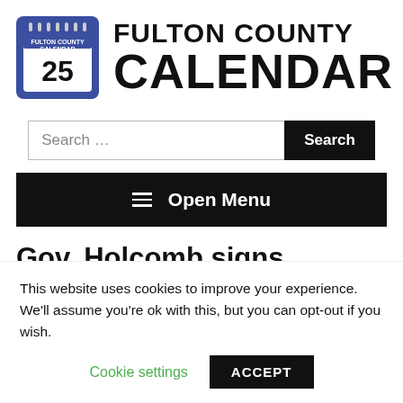[Figure (logo): Fulton County Calendar logo: a blue calendar icon with '25' and 'FULTON COUNTY CALENDAR' text, next to large bold text 'FULTON COUNTY CALENDAR']
Search ...
Search
≡  Open Menu
Gov. Holcomb signs COVID-19
This website uses cookies to improve your experience. We'll assume you're ok with this, but you can opt-out if you wish.
Cookie settings
ACCEPT